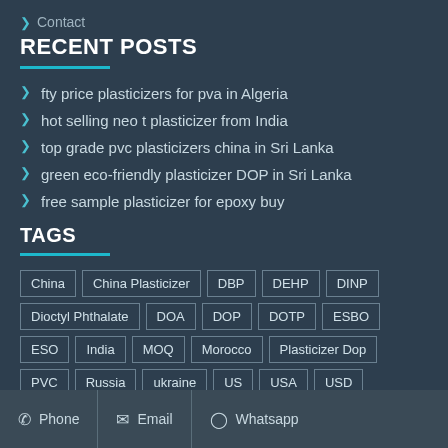Contact
RECENT POSTS
fty price plasticizers for pva in Algeria
hot selling neo t plasticizer from India
top grade pvc plasticizers china in Sri Lanka
green eco-friendly plasticizer DOP in Sri Lanka
free sample plasticizer for epoxy buy
TAGS
China, China Plasticizer, DBP, DEHP, DINP, Dioctyl Phthalate, DOA, DOP, DOTP, ESBO, ESO, India, MOQ, Morocco, Plasticizer Dop, PVC, Russia, ukraine, US, USA, USD
Phone | Email | Whatsapp